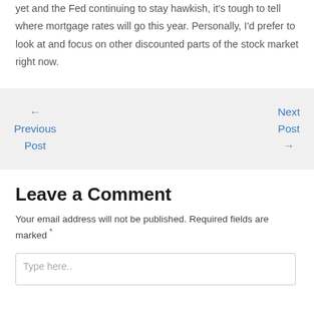yet and the Fed continuing to stay hawkish, it's tough to tell where mortgage rates will go this year. Personally, I'd prefer to look at and focus on other discounted parts of the stock market right now.
← Previous Post
Next Post →
Leave a Comment
Your email address will not be published. Required fields are marked *